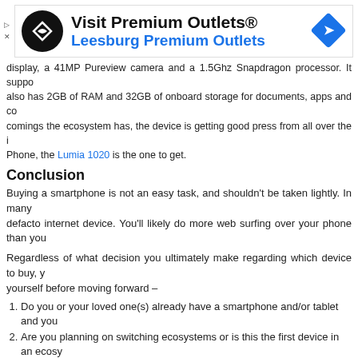[Figure (infographic): Advertisement banner for Visit Premium Outlets / Leesburg Premium Outlets with logo and directional sign icon]
display, a 41MP Pureview camera and a 1.5Ghz Snapdragon processor. It suppo also has 2GB of RAM and 32GB of onboard storage for documents, apps and co comings the ecosystem has, the device is getting good press from all over the i Phone, the Lumia 1020 is the one to get.
Conclusion
Buying a smartphone is not an easy task, and shouldn't be taken lightly. In many defacto internet device. You'll likely do more web surfing over your phone than you
Regardless of what decision you ultimately make regarding which device to buy, y yourself before moving forward –
Do you or your loved one(s) already have a smartphone and/or tablet and you
Are you planning on switching ecosystems or is this the first device in an ecosy
What kind of accessories have you purchased? Can they be used with the new
What kind of budget do you have for this purchase?
Like PC's and tablet's budget limitations may drive your smartphone purchase. If th a favor and still go through the exercise I've outlined here. It will at the very least g picture of choosing the best smartphone for you.
Related Posts:
Apple's Low Cost iPhone – Good or Bad Idea?